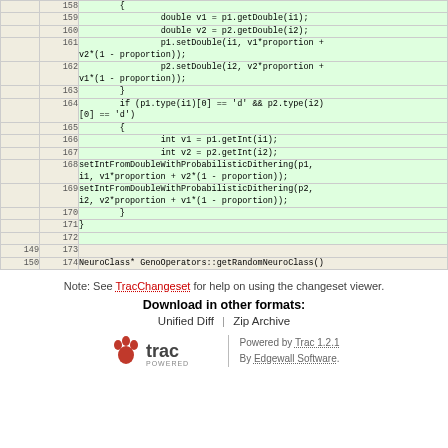| old | new | code |
| --- | --- | --- |
|  | 158 | { |
|  | 159 |                 double v1 = p1.getDouble(i1); |
|  | 160 |                 double v2 = p2.getDouble(i2); |
|  | 161 |                 p1.setDouble(i1, v1*proportion +
v2*(1 - proportion)); |
|  | 162 |                 p2.setDouble(i2, v2*proportion +
v1*(1 - proportion)); |
|  | 163 |         } |
|  | 164 |         if (p1.type(i1)[0] == 'd' && p2.type(i2)
[0] == 'd') |
|  | 165 |         { |
|  | 166 |                 int v1 = p1.getInt(i1); |
|  | 167 |                 int v2 = p2.getInt(i2); |
|  | 168 | setIntFromDoubleWithProbabilisticDithering(p1,
i1, v1*proportion + v2*(1 - proportion)); |
|  | 169 | setIntFromDoubleWithProbabilisticDithering(p2,
i2, v2*proportion + v1*(1 - proportion)); |
|  | 170 |         } |
|  | 171 | } |
|  | 172 |  |
| 149 | 173 |  |
| 150 | 174 | NeuroClass* GenoOperators::getRandomNeuroClass() |
Note: See TracChangeset for help on using the changeset viewer.
Download in other formats:
Unified Diff | Zip Archive
Powered by Trac 1.2.1
By Edgewall Software.